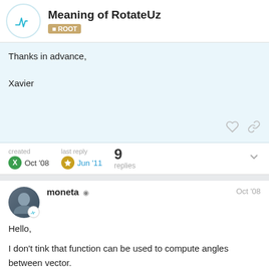Meaning of RotateUz | ROOT
Thanks in advance,

Xavier
created Oct '08   last reply Jun '11   9 replies
moneta   Oct '08
Hello,

I don't tink that function can be used to compute angles between vector.
It is used for transforming a vector from a rotated frame to another.
For example, from the documentation of T